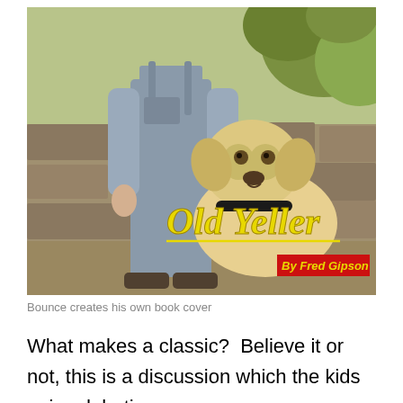[Figure (photo): A boy in overalls standing next to a large yellow Labrador dog, in front of a stone wall with plants. Overlaid text reads 'Old Yeller' in yellow with underline, and 'By Fred Gipson' in yellow on a red background box in the lower right.]
Bounce creates his own book cover
What makes a classic?  Believe it or not, this is a discussion which the kids enjoy debating every year.